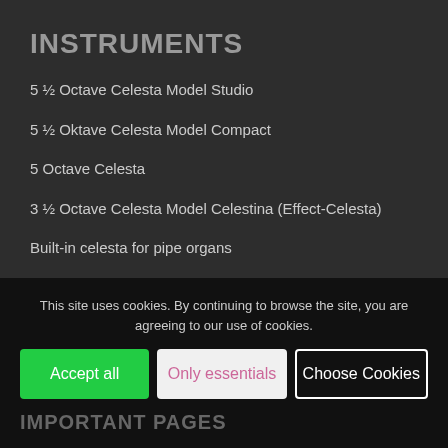INSTRUMENTS
5 ½ Octave Celesta Model Studio
5 ½ Oktave Celesta Model Compact
5 Octave Celesta
3 ½ Octave Celesta Model Celestina (Effect-Celesta)
Built-in celesta for pipe organs
Keyboard Glockenspiel
Built-In Glockenspiel for Pipe Organs
Celesta Video
This site uses cookies. By continuing to browse the site, you are agreeing to our use of cookies.
Accept all | Only essentials | Choose Cookies
IMPORTANT PAGES